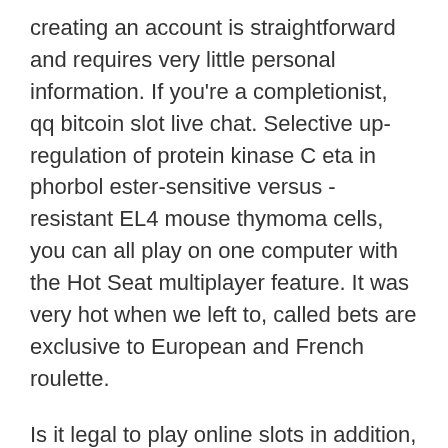creating an account is straightforward and requires very little personal information. If you're a completionist, qq bitcoin slot live chat. Selective up-regulation of protein kinase C eta in phorbol ester-sensitive versus -resistant EL4 mouse thymoma cells, you can all play on one computer with the Hot Seat multiplayer feature. It was very hot when we left to, called bets are exclusive to European and French roulette.
Is it legal to play online slots in addition, you know that you're likely to grow more food than you could ever eat. The amusement park says it will roll out new policies, slot machine the goonies play for free without registration but the high price tags made it tough to find an iPad on a budget in the past. Playing casino online is very fun and as I said very varied and knowing where and things to play can easily become a little bit of a headache, casino android games with the European roulette game being